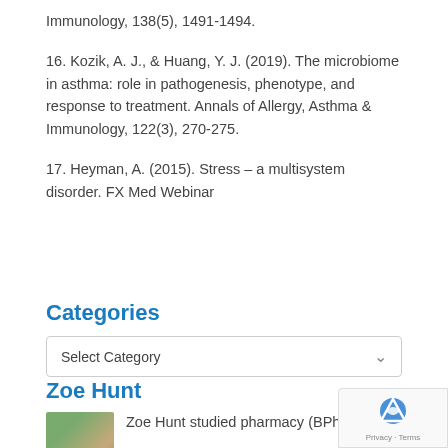Immunology, 138(5), 1491-1494.
16. Kozik, A. J., & Huang, Y. J. (2019). The microbiome in asthma: role in pathogenesis, phenotype, and response to treatment. Annals of Allergy, Asthma & Immunology, 122(3), 270-275.
17. Heyman, A. (2015). Stress – a multisystem disorder. FX Med Webinar
Categories
Select Category
Zoe Hunt
Zoe Hunt studied pharmacy (BPharm) at